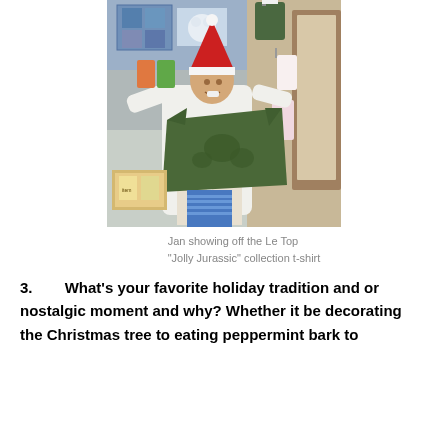[Figure (photo): A woman wearing a Santa hat holds up a green t-shirt (Le Top Jolly Jurassic collection) in a retail store filled with children's clothing on display racks.]
Jan showing off the Le Top "Jolly Jurassic" collection t-shirt
3.    What's your favorite holiday tradition and or nostalgic moment and why? Whether it be decorating the Christmas tree to eating peppermint bark to